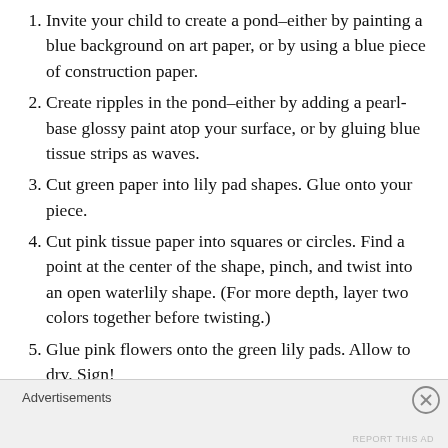Invite your child to create a pond–either by painting a blue background on art paper, or by using a blue piece of construction paper.
Create ripples in the pond–either by adding a pearl-base glossy paint atop your surface, or by gluing blue tissue strips as waves.
Cut green paper into lily pad shapes. Glue onto your piece.
Cut pink tissue paper into squares or circles. Find a point at the center of the shape, pinch, and twist into an open waterlily shape. (For more depth, layer two colors together before twisting.)
Glue pink flowers onto the green lily pads. Allow to dry. Sign!
Advertisements